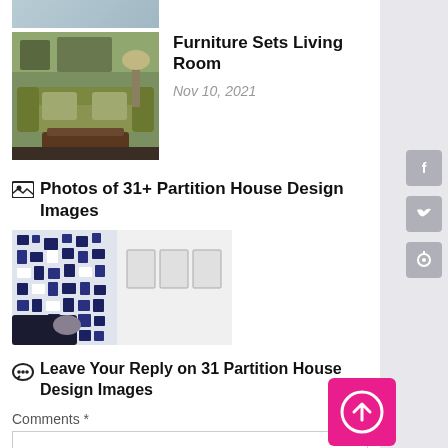[Figure (photo): Top strip of a living room thumbnail image]
Furniture Sets Living Room
Nov 10, 2021
[Figure (photo): Living room with green sofa and wooden coffee table]
Photos of 31+ Partition House Design Images
[Figure (photo): Modern partition wall design with blue and white mosaic pattern]
Leave Your Reply on 31 Partition House Design Images
Comments *
[Figure (illustration): Facebook share icon in grey sidebar]
[Figure (illustration): Twitter share icon in grey sidebar]
[Figure (illustration): Pinterest share icon in grey sidebar]
[Figure (illustration): Pink scroll-to-top button with upward arrow]